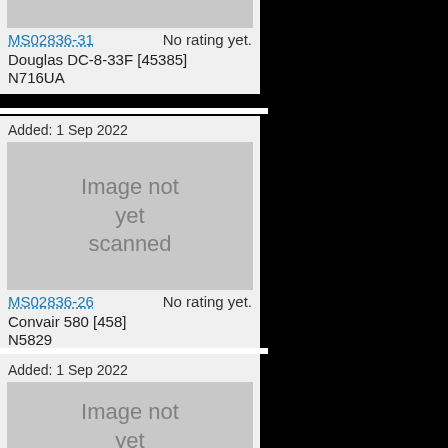[Figure (photo): Partial aircraft image placeholder at top of page (clipped)]
MS02836-31   No rating yet.
Douglas DC-8-33F [45385]
N716UA
Added: 1 Sep 2022
[Figure (photo): Image not yet scanned placeholder]
MS02836-26   No rating yet.
Convair 580 [458]
N5829
Added: 1 Sep 2022
[Figure (photo): Image not yet scanned placeholder (partially visible)]